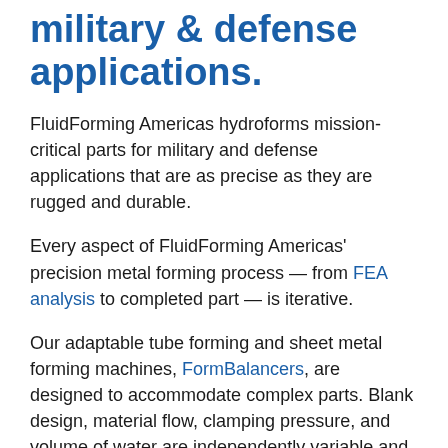military & defense applications.
FluidForming Americas hydroforms mission-critical parts for military and defense applications that are as precise as they are rugged and durable.
Every aspect of FluidForming Americas' precision metal forming process — from FEA analysis to completed part — is iterative.
Our adaptable tube forming and sheet metal forming machines, FormBalancers, are designed to accommodate complex parts. Blank design, material flow, clamping pressure, and volume of water are independently variable and controlled. This ensures that FluidForming...